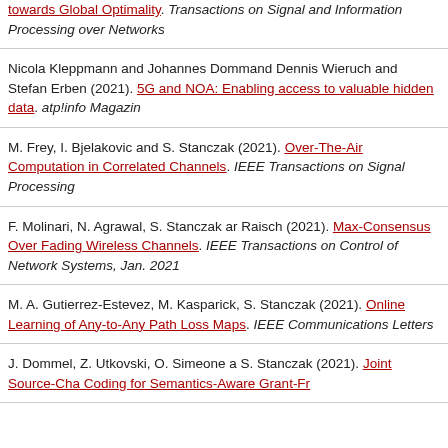towards Global Optimality. Transactions on Signal and Information Processing over Networks
Nicola Kleppmann and Johannes Dommel and Dennis Wieruch and Stefan Erber (2021). 5G and NOA: Enabling access to valuable hidden data. atp!info Magazine
M. Frey, I. Bjelakovic and S. Stanczak (2021). Over-The-Air Computation in Correlated Channels. IEEE Transactions on Signal Processing
F. Molinari, N. Agrawal, S. Stanczak and Raisch (2021). Max-Consensus Over Fading Wireless Channels. IEEE Transactions on Control of Network Systems, Jan. 2021
M. A. Gutierrez-Estevez, M. Kasparick, S. Stanczak (2021). Online Learning of Any-to-Any Path Loss Maps. IEEE Communications Letters
J. Dommel, Z. Utkovski, O. Simeone and S. Stanczak (2021). Joint Source-Channel Coding for Semantics-Aware Grant-Free